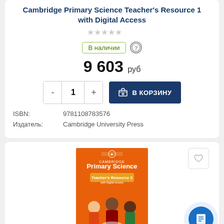Cambridge Primary Science Teacher's Resource 1 with Digital Access
В наличии
9 603 руб
В КОРЗИНУ
ISBN: 9781108783576
Издатель: Cambridge University Press
[Figure (illustration): Book cover for Cambridge Primary Science Teacher's Resource 2 with Digital Access — orange background with Cambridge logo, title text, and cartoon children illustration]
Cambridge Primary Science Teacher's Resource 2 with Digital Access